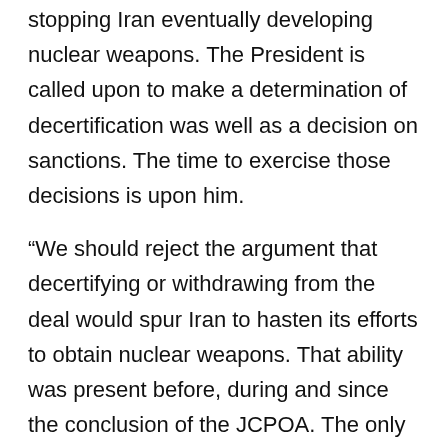stopping Iran eventually developing nuclear weapons. The President is called upon to make a determination of decertification was well as a decision on sanctions. The time to exercise those decisions is upon him.
“We should reject the argument that decertifying or withdrawing from the deal would spur Iran to hasten its efforts to obtain nuclear weapons. That ability was present before, during and since the conclusion of the JCPOA. The only thing likely to slow Iran is pressure, including and especially renewed sanctions.